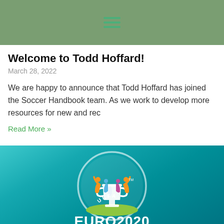Navigation menu icon (hamburger)
Welcome to Todd Hoffard!
March 28, 2022
We are happy to announce that Todd Hoffard has joined the Soccer Handbook team. As we work to develop more resources for new and rec
Read More »
[Figure (logo): UEFA EURO 2020 official logo on teal/teal-green gradient background. Shows a trophy with colorful human figures, a circular badge with UEFA text, and 'EURO2020' text at bottom.]